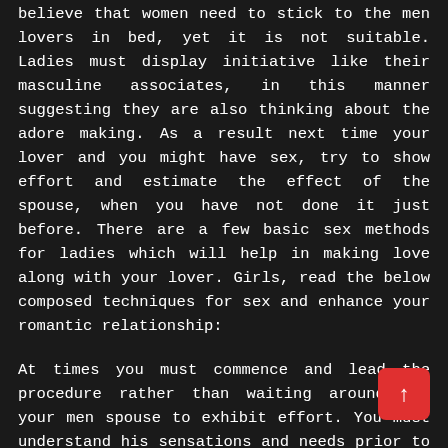believe that women need to stick to the men lovers in bed, yet it is not suitable. Ladies must display initiative like their masculine associates, in this manner suggesting they are also thinking about the adore making. As a result next time your lover and you might have sex, try to show effort and estimate the effect of the spouse, when you have not done it just before. There are a few basic sex methods for ladies which will help in making love along with your lover. Girls, read the below composed techniques for sex and enhance your romantic relationship:
At times you must commence and lead the procedure rather than waiting around for your men spouse to exhibit effort. You must understand his sensations and needs prior to taking the executives position so that you tend not to power him in the event he is not in the mood.